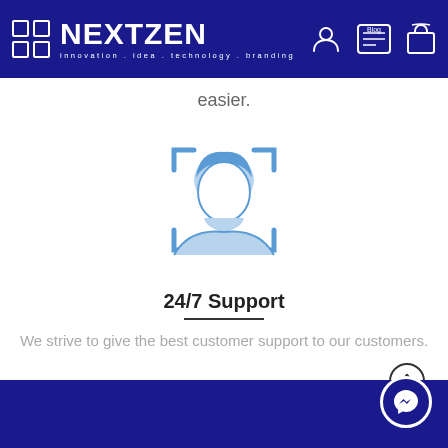NEXTZEN — innovation . idea . technology . branding
easier.
[Figure (illustration): Face ID / user profile icon with scan frame corners in light blue, centered on white background]
24/7 Support
We strive to give the best customer support to our customers.